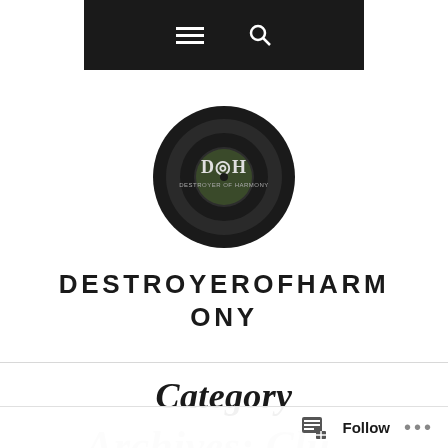Navigation bar with menu and search icons
[Figure (logo): Circular black logo with DOH letters and 'Destroyer of Harmony' text around a vinyl record graphic]
DESTROYEROFHARMONY
Category
Archives: Clutter (partially visible)
Follow